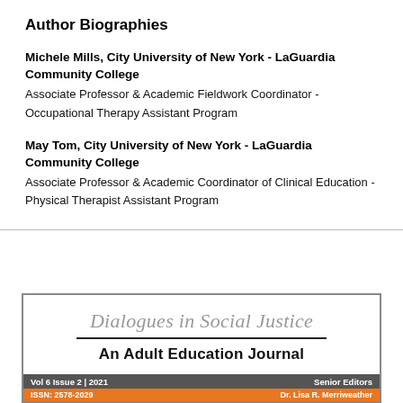Author Biographies
Michele Mills, City University of New York - LaGuardia Community College
Associate Professor & Academic Fieldwork Coordinator - Occupational Therapy Assistant Program
May Tom, City University of New York - LaGuardia Community College
Associate Professor & Academic Coordinator of Clinical Education - Physical Therapist Assistant Program
[Figure (logo): Dialogues in Social Justice: An Adult Education Journal logo with italic gray title, horizontal rule, and bold subtitle. Footer shows Vol 6 Issue 2 | 2021, ISSN: 2578-2029, Senior Editors, Dr. Lisa R. Merriweather]